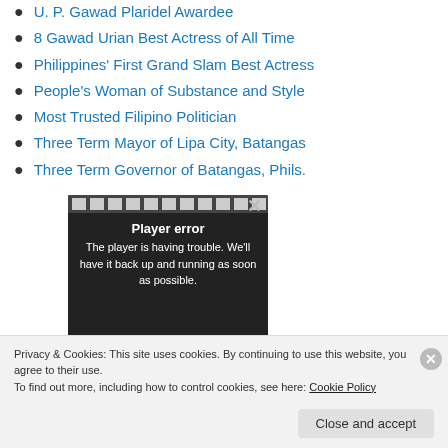U. P. Gawad Plaridel Awardee
8 Gawad Urian Best Actress of All Time
Philippines' First Grand Slam Best Actress
People's Woman of Substance and Style
Most Trusted Filipino Politician
Three Term Mayor of Lipa City, Batangas
Three Term Governor of Batangas, Phils.
[Figure (screenshot): Video player error screen with film strip at top, showing 'Player error' title and message: 'The player is having trouble. We'll have it back up and running as soon as possible.']
Privacy & Cookies: This site uses cookies. By continuing to use this website, you agree to their use.
To find out more, including how to control cookies, see here: Cookie Policy
Close and accept